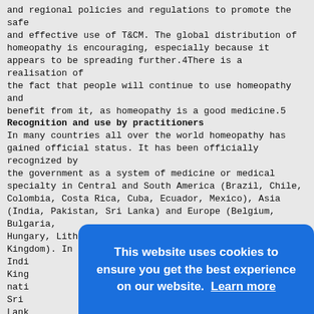and regional policies and regulations to promote the safe
and effective use of T&CM. The global distribution of homeopathy is encouraging, especially because it appears to be spreading further.4There is a realisation of
the fact that people will continue to use homeopathy and
benefit from it, as homeopathy is a good medicine.5
Recognition and use by practitioners
In many countries all over the world homeopathy has gained official status. It has been officially recognized by
the government as a system of medicine or medical specialty in Central and South America (Brazil, Chile,
Colombia, Costa Rica, Cuba, Ecuador, Mexico), Asia (India, Pakistan, Sri Lanka) and Europe (Belgium, Bulgaria,
Hungary, Lithuania, Portugal, Romania, Russia, United Kingdom). In some of these countries, namely Brazil,
Indi... King... nati... Sri
Lank... to
that... many
prac... allo...
for
many patients is a homeopathic doctor.6
[Figure (screenshot): Cookie consent banner overlay with blue background. Text reads: 'This website uses cookies to ensure you get the best experience on our website. Learn more'. Buttons: 'Decline' (white text) and 'Allow cookies' (blue text on white background).]